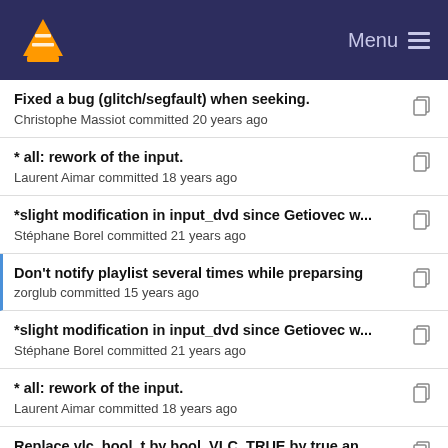VLC Menu
Fixed a bug (glitch/segfault) when seeking.
Christophe Massiot committed 20 years ago
* all: rework of the input.
Laurent Aimar committed 18 years ago
*slight modification in input_dvd since Getiovec w...
Stéphane Borel committed 21 years ago
Don't notify playlist several times while preparsing
zorglub committed 15 years ago
*slight modification in input_dvd since Getiovec w...
Stéphane Borel committed 21 years ago
* all: rework of the input.
Laurent Aimar committed 18 years ago
Replace vlc_bool_t by bool, VLC_TRUE by true an...
Pierre d'Herbemont committed 14 years ago